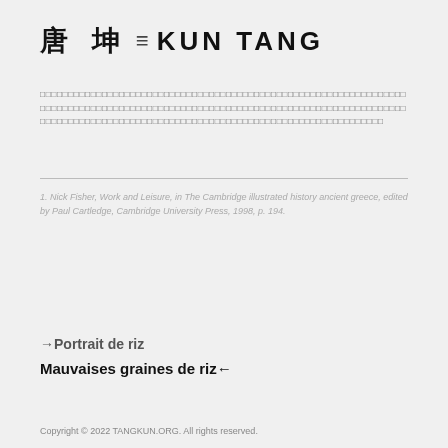唐 坤  ≡  KUN TANG
□□□□□□□□□□□□□□□□□□□□□□□□□□□□□□□□□□□□□□□□□□□□□□□□□□□□□□□□□□□□□□□□□□□□□□□□□□□□□□□□□□□□□□□□□□□□□□□□□□□□□□□□□□□□□□□□□□□□□□□□□□□□□□□□□□□□□□□□□□□□□□□□□□□□□□□□□□□□□□□□□□□□□□□□□□□□□□□□□□□□□□□□□□□□□□□
1. Nick Fisher, Work and Leisure, in The Cambridge illustrated history ancient greece, edited by Paul Cartledge, Cambridge University Press, 1998, p. 194.
→Portrait de riz
Mauvaises graines de riz←
Copyright © 2022 TANGKUN.ORG. All rights reserved.